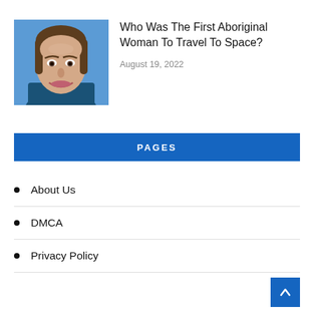[Figure (photo): Partial top strip of a photo, cropped at top of page]
[Figure (photo): Portrait photo of a woman with dark hair pulled back, smiling, wearing blue, against a blue background]
Who Was The First Aboriginal Woman To Travel To Space?
August 19, 2022
PAGES
About Us
DMCA
Privacy Policy